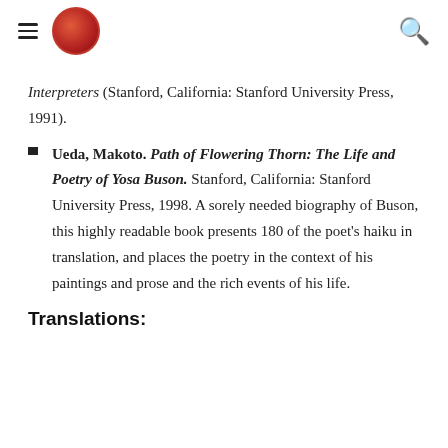[navigation header with hamburger menu, logo, and search icon]
Interpreters (Stanford, California: Stanford University Press, 1991).
Ueda, Makoto. Path of Flowering Thorn: The Life and Poetry of Yosa Buson. Stanford, California: Stanford University Press, 1998. A sorely needed biography of Buson, this highly readable book presents 180 of the poet's haiku in translation, and places the poetry in the context of his paintings and prose and the rich events of his life.
Translations: